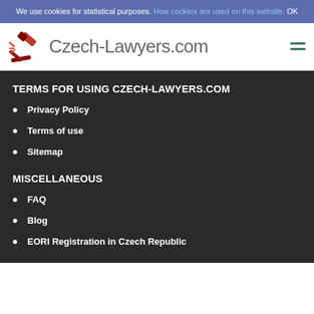We use cookies for statistical purposes. How cookies are used on this website. OK
[Figure (logo): Czech-Lawyers.com logo with red gavel icon and site name text]
TERMS FOR USING CZECH-LAWYERS.COM
Privacy Policy
Terms of use
Sitemap
MISCELLANEOUS
FAQ
Blog
EORI Registration in Czech Republic